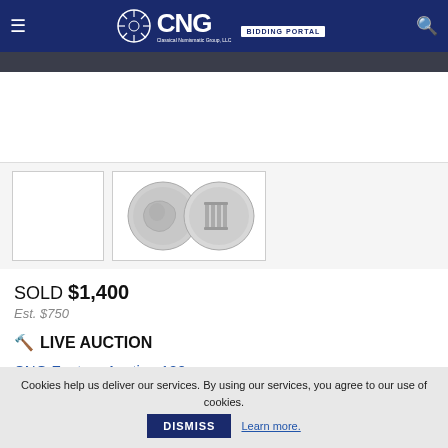CNG BIDDING PORTAL
[Figure (photo): Dark strip representing coin image area at top]
[Figure (photo): Two ancient silver coins shown as thumbnails — obverse and reverse]
SOLD $1,400
Est. $750
LIVE AUCTION
CNG Feature Auction 120
Live bidding began May 11, 2022 at 9:00 AM EDT
Cookies help us deliver our services. By using our services, you agree to our use of cookies.  DISMISS  Learn more.